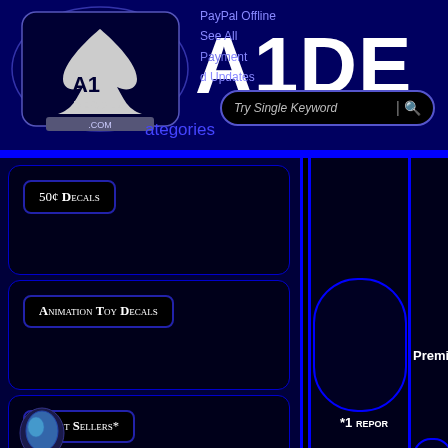A1 Decals - PayPal Offline - See All Payment Methods and Updates
Try Single Keyword
Categories
50¢ Decals
Animation Toy Decals
*Best Sellers*
Decals
Premium Vi
*1 repor